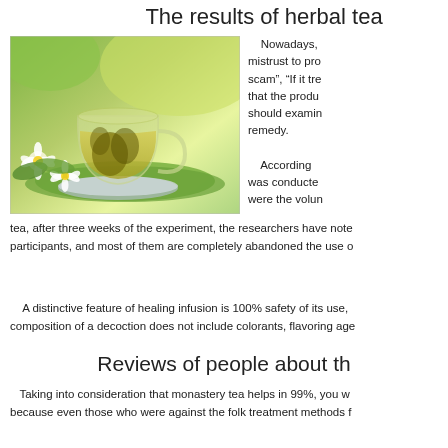The results of herbal tea
[Figure (photo): A glass cup of green herbal tea on a saucer, with white jasmine flowers on a green leaf background.]
Nowadays, mistrust to products scam”, “If it tre… that the produ… should examin… remedy.
According … was conducte… were the volun… tea, after three weeks of the experiment, the researchers have note… participants, and most of them are completely abandoned the use o…
A distinctive feature of healing infusion is 100% safety of its use,… composition of a decoction does not include colorants, flavoring age…
Reviews of people about th…
Taking into consideration that monastery tea helps in 99%, you w… because even those who were against the folk treatment methods f…